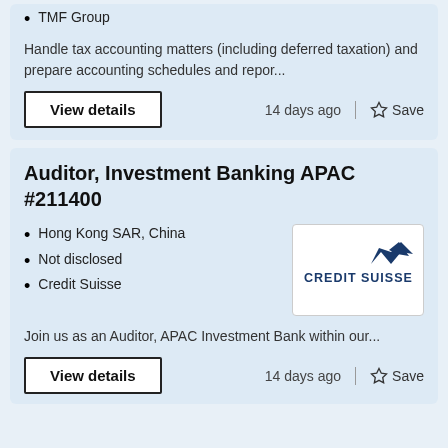TMF Group
Handle tax accounting matters (including deferred taxation) and prepare accounting schedules and repor...
View details  14 days ago  Save
Auditor, Investment Banking APAC #211400
Hong Kong SAR, China
Not disclosed
Credit Suisse
[Figure (logo): Credit Suisse company logo with navy blue text and bird/sail icon]
Join us as an Auditor, APAC Investment Bank within our...
View details  14 days ago  Save